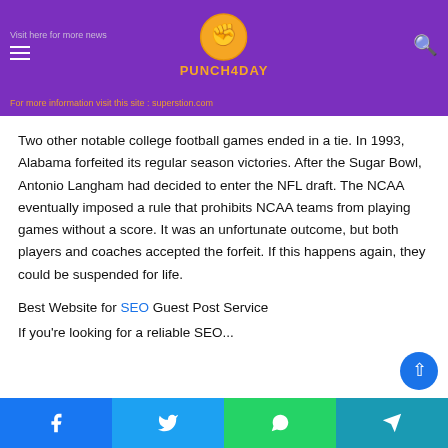Visit here for more news | PUNCH4DAY logo | For more information visit this site : superstion.com
Two other notable college football games ended in a tie. In 1993, Alabama forfeited its regular season victories. After the Sugar Bowl, Antonio Langham had decided to enter the NFL draft. The NCAA eventually imposed a rule that prohibits NCAA teams from playing games without a score. It was an unfortunate outcome, but both players and coaches accepted the forfeit. If this happens again, they could be suspended for life.
Best Website for SEO Guest Post Service
If you're looking for a reliable SEO...
Facebook | Twitter | WhatsApp | Telegram